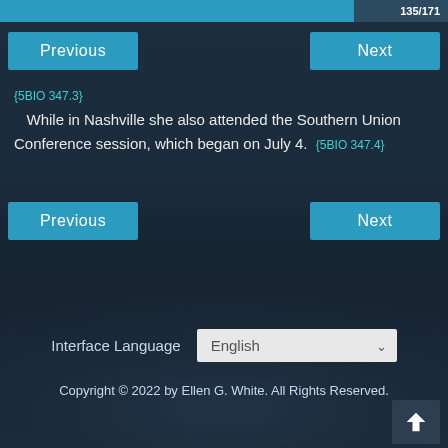135/171
Previous
Next
{5BIO 347.3}
While in Nashville she also attended the Southern Union Conference session, which began on July 4.  {5BIO 347.4}
Previous
Next
Interface Language  English
Copyright © 2022 by Ellen G. White. All Rights Reserved.